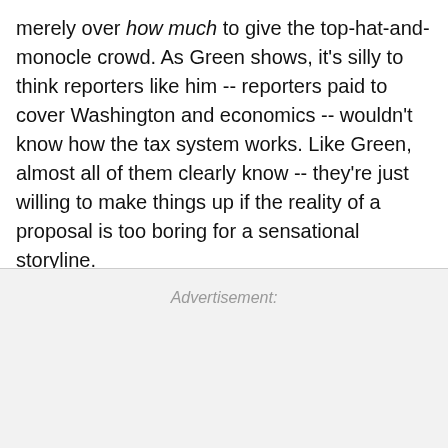merely over how much to give the top-hat-and-monocle crowd. As Green shows, it's silly to think reporters like him -- reporters paid to cover Washington and economics -- wouldn't know how the tax system works. Like Green, almost all of them clearly know -- they're just willing to make things up if the reality of a proposal is too boring for a sensational storyline.
Advertisement: